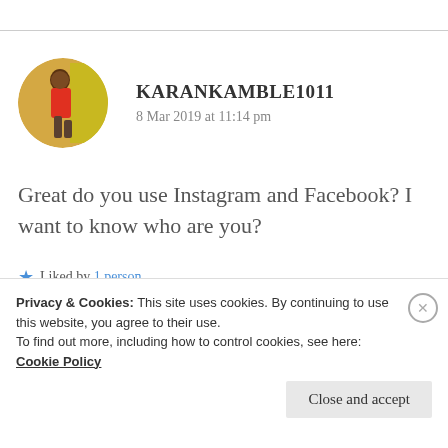[Figure (photo): Circular avatar photo of a person in a red shirt walking, against a yellow background]
KARANKAMBLE1011
8 Mar 2019 at 11:14 pm
Great do you use Instagram and Facebook? I want to know who are you?
★ Liked by 1 person
Privacy & Cookies: This site uses cookies. By continuing to use this website, you agree to their use.
To find out more, including how to control cookies, see here: Cookie Policy
Close and accept